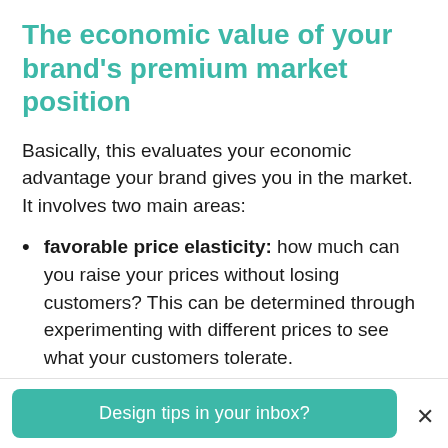The economic value of your brand's premium market position
Basically, this evaluates your economic advantage your brand gives you in the market. It involves two main areas:
favorable price elasticity: how much can you raise your prices without losing customers? This can be determined through experimenting with different prices to see what your customers tolerate.
Design tips in your inbox?